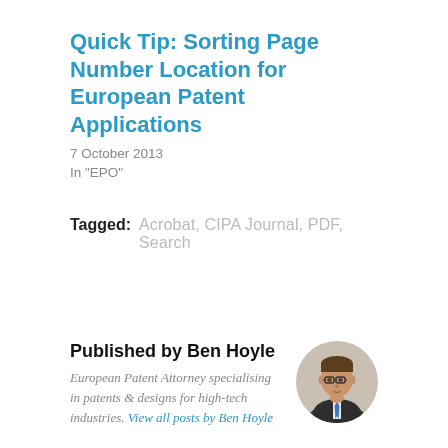Quick Tip: Sorting Page Number Location for European Patent Applications
7 October 2013
In "EPO"
Tagged: Acrobat, CIPA Journal, PDF, Search
Published by Ben Hoyle
European Patent Attorney specialising in patents & designs for high-tech industries. View all posts by Ben Hoyle
[Figure (photo): Circular portrait photo of Ben Hoyle, a man wearing glasses and a suit with a blue tie.]